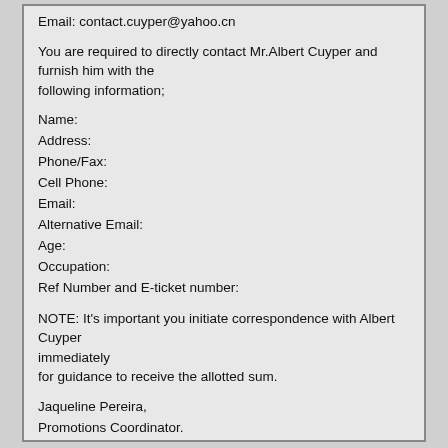Tel: +31 611 330 331
Email: contact.cuyper@yahoo.cn
You are required to directly contact Mr.Albert Cuyper and furnish him with the following information;
Name:
Address:
Phone/Fax:
Cell Phone:
Email:
Alternative Email:
Age:
Occupation:
Ref Number and E-ticket number:
NOTE: It's important you initiate correspondence with Albert Cuyper immediately for guidance to receive the allotted sum.
Jaqueline Pereira,
Promotions Coordinator.
----------------------------------------------------------------
This message was sent using IMP, the Internet Messaging Program.